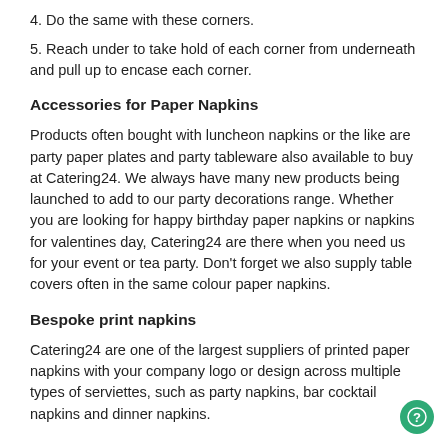4. Do the same with these corners.
5. Reach under to take hold of each corner from underneath and pull up to encase each corner.
Accessories for Paper Napkins
Products often bought with luncheon napkins or the like are party paper plates and party tableware also available to buy at Catering24. We always have many new products being launched to add to our party decorations range. Whether you are looking for happy birthday paper napkins or napkins for valentines day, Catering24 are there when you need us for your event or tea party. Don't forget we also supply table covers often in the same colour paper napkins.
Bespoke print napkins
Catering24 are one of the largest suppliers of printed paper napkins with your company logo or design across multiple types of serviettes, such as party napkins, bar cocktail napkins and dinner napkins.